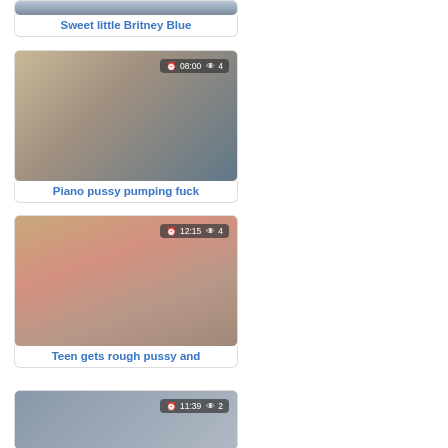[Figure (photo): Thumbnail top - Sweet little Britney Blue video card (partial, top cropped)]
Sweet little Britney Blue
[Figure (photo): Thumbnail for Piano pussy pumping fuck video, duration 08:00, 4 views]
Piano pussy pumping fuck
[Figure (photo): Thumbnail for Teen gets rough pussy and video, duration 12:15, 4 views]
Teen gets rough pussy and
[Figure (photo): Thumbnail partial bottom card, duration 11:39, 2 views]